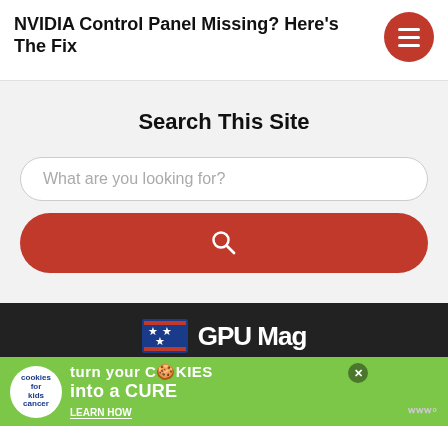NVIDIA Control Panel Missing? Here’s The Fix
[Figure (other): Red circular hamburger/menu button with three white horizontal lines]
Search This Site
[Figure (screenshot): Search input field with placeholder text 'What are you looking for?' in a rounded white box, followed by a red rounded search button with magnifying glass icon]
[Figure (logo): GPU Mag logo: blue flag icon with stars and GPU Mag text in white on dark background]
[Figure (other): Advertisement banner: green background with 'cookies for kids cancer' logo, text 'turn your COOKIES into a CURE LEARN HOW', close button, and Wordmark logo]